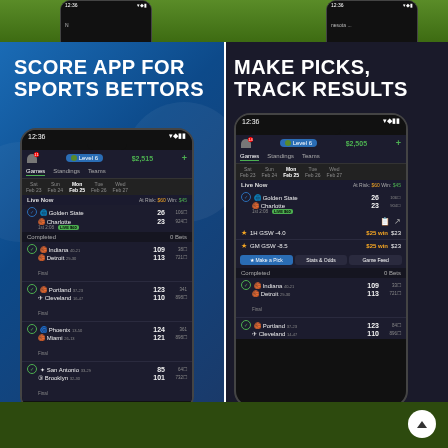[Figure (screenshot): Top strip showing partial phone mockups on green background with partial text 'nesota' and other UI elements]
[Figure (screenshot): Left panel: Blue gradient background with bold white text 'SCORE APP FOR SPORTS BETTORS' and phone mockup showing NBA scores app with games list including Golden State vs Charlotte, Indiana vs Detroit, Portland vs Cleveland, Phoenix vs Miami, San Antonio vs Brooklyn]
[Figure (screenshot): Right panel: Dark background with bold white text 'MAKE PICKS, TRACK RESULTS' and phone mockup showing same scores app with picks interface - 1H GSW -4.0 $25 win $23, GM GSW -8.5 $25 win $23, with Make a Pick, Stats & Odds, Game Feed buttons]
[Figure (screenshot): Bottom green strip with up arrow button on right side]